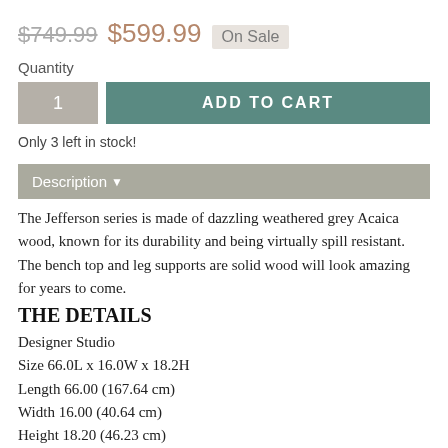$749.99  $599.99  On Sale
Quantity
1  ADD TO CART
Only 3 left in stock!
Description ▼
The Jefferson series is made of dazzling weathered grey Acaica wood, known for its durability and being virtually spill resistant. The bench top and leg supports are solid wood will look amazing for years to come.
THE DETAILS
Designer Studio
Size 66.0L x 16.0W x 18.2H
Length 66.00 (167.64 cm)
Width 16.00 (40.64 cm)
Height 18.20 (46.23 cm)